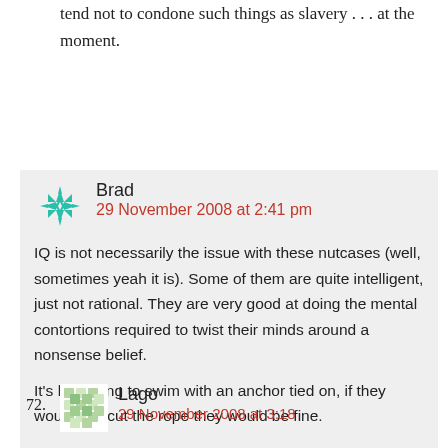tend not to condone such things as slavery . . . at the moment.
71. Brad
29 November 2008 at 2:41 pm
IQ is not necessarily the issue with these nutcases (well, sometimes yeah it is). Some of them are quite intelligent, just not rational. They are very good at doing the mental contortions required to twist their minds around a nonsense belief.
It's like trying to swim with an anchor tied on, if they would just cut the rope they would be fine.
72. Lago
29 November 2008 at 3:18